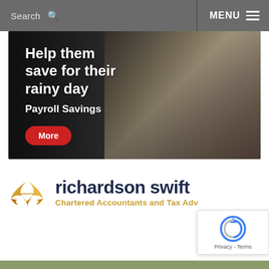Search  MENU
[Figure (photo): Banner advertisement showing a woman with an umbrella on a rainy day, with text overlay: 'Help them save for their rainy day — Payroll Savings' and a red 'More' button]
[Figure (logo): Richardson Swift logo — golden bird (swift) icon on left, company name 'richardson swift' in dark navy bold text, tagline 'Chartered Accountants and Tax Adv...' in gold]
[Figure (other): Google reCAPTCHA widget overlay with circular arrow icon and 'Privacy - Terms' text]